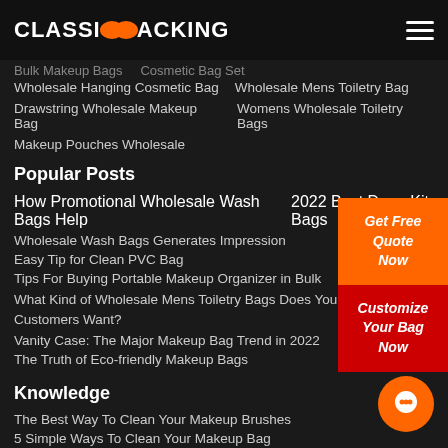CLASSIC PACKING
Bulk Makeup Bags   Cosmetic Bag Set
Wholesale Hanging Cosmetic Bag   Wholesale Mens Toiletry Bag
Drawstring Wholesale Makeup Bag   Womens Wholesale Toiletry Bags
Makeup Pouches Wholesale
Popular Posts
How Promotional Wholesale Wash Bags Help   2022 Best Dopp Kit Bags
Wholesale Wash Bags Generates Impression
Easy Tip for Clean PVC Bag
Tips For Buying Portable Makeup Organizer in Bulk
What Kind of Wholesale Mens Toiletry Bags Does Your Customers Want?
Vanity Case: The Major Makeup Bag Trend in 2022
The Truth of Eco-friendly Makeup Bags
[Figure (infographic): Orange CTA button: Get Free Quote Now]
[Figure (infographic): Red CTA button: Customize Your Bag Now]
Knowledge
The Best Way To Clean Your Makeup Brushes
5 Simple Ways To Clean Your Makeup Bag
How to Choose a Wholesale Shopping Bag for Your Business
[Figure (infographic): Orange circular chat/messenger bubble icon]